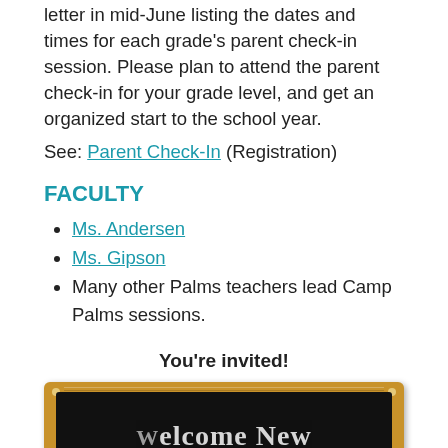letter in mid-June listing the dates and times for each grade's parent check-in session. Please plan to attend the parent check-in for your grade level, and get an organized start to the school year.
See: Parent Check-In (Registration)
FACULTY
Ms. Andersen
Ms. Gipson
Many other Palms teachers lead Camp Palms sessions.
You're invited!
[Figure (illustration): A chalkboard with wooden frame showing the beginning of text 'Welcome New ...ies!' written in chalk-style lettering on a black background.]